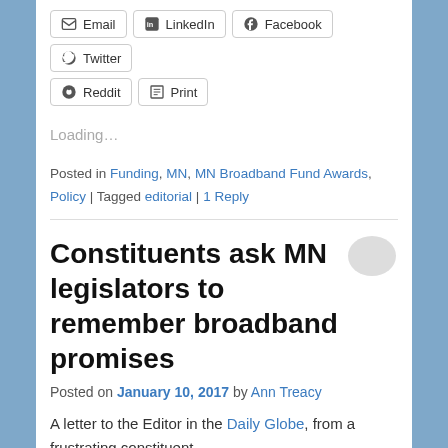Email | LinkedIn | Facebook | Twitter | Reddit | Print (share buttons)
Loading...
Posted in Funding, MN, MN Broadband Fund Awards, Policy | Tagged editorial | 1 Reply
Constituents ask MN legislators to remember broadband promises
Posted on January 10, 2017 by Ann Treacy
A letter to the Editor in the Daily Globe, from a frustrating constituent…
I was expecting the first few days of the legislative session to